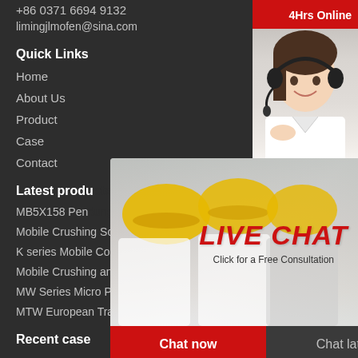+86 0371 6694 9132
limingjlmofen@sina.com
Quick Links
Home
About Us
Product
Case
Contact
Latest products
MB5X158 Pen…
Mobile Crushing Screening Plant
K series Mobile Cone Crusher
Mobile Crushing and Washing Pla
MW Series Micro Powder Mill
MTW European Trapezium Mill
Recent case
[Figure (screenshot): Live Chat popup with workers in hard hats, LIVE CHAT title in red italic, 'Click for a Free Consultation' subtitle, Chat now and Chat later buttons]
[Figure (screenshot): Right sidebar with 24Hrs Online header in red, headset operator photo, Need questions & suggestion box, Chat Now button, Enquiry section, limingjlmofen text]